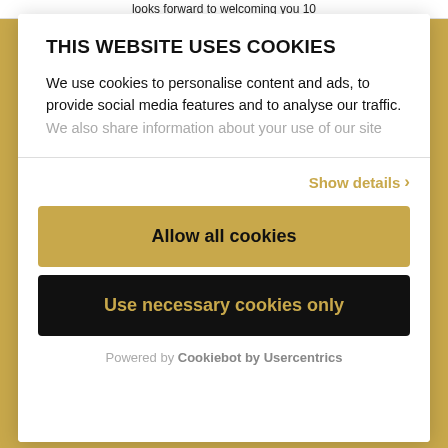looks forward to welcoming you 10
THIS WEBSITE USES COOKIES
We use cookies to personalise content and ads, to provide social media features and to analyse our traffic. We also share information about your use of our site
Show details ›
Allow all cookies
Use necessary cookies only
Powered by Cookiebot by Usercentrics